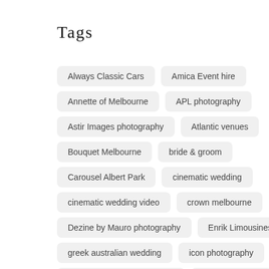Tags
Always Classic Cars
Amica Event hire
Annette of Melbourne
APL photography
Astir Images photography
Atlantic venues
Bouquet Melbourne
bride & groom
Carousel Albert Park
cinematic wedding
cinematic wedding video
crown melbourne
Dezine by Mauro photography
Enrik Limousines
greek australian wedding
icon photography
icon photography melbourne
Jewish wedding
Leonda by the Yarra
Love
Manor on high
Melbourne
Nikos Cakes
Pro Eye Video